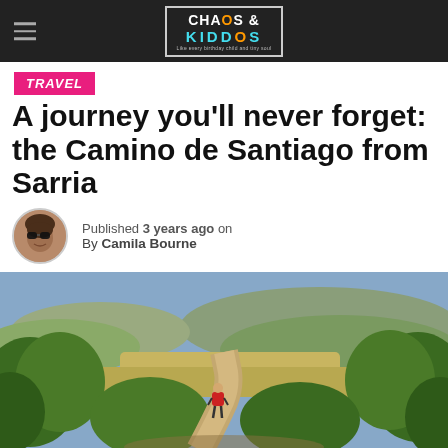Chaos & Kiddos
TRAVEL
A journey you'll never forget: the Camino de Santiago from Sarria
Published 3 years ago on
By Camila Bourne
[Figure (photo): A hiker with a red backpack walking along a rocky dirt path descending into a lush green valley with rolling hills and mountains in the background under a partly cloudy sky.]
f  Twitter  Reddit  in  Pinterest  MiW  Mix  WhatsApp  Share